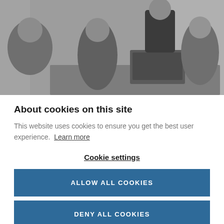[Figure (photo): Black and white photo of four business professionals in a meeting setting around a laptop, smiling and engaged in conversation.]
About cookies on this site
This website uses cookies to ensure you get the best user experience. Learn more
Cookie settings
ALLOW ALL COOKIES
DENY ALL COOKIES